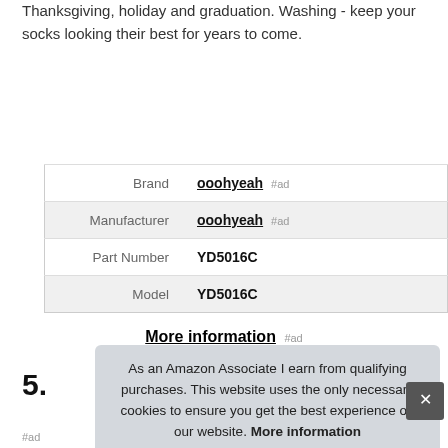Thanksgiving, holiday and graduation. Washing - keep your socks looking their best for years to come.
| Brand | ooohyeah #ad |
| Manufacturer | ooohyeah #ad |
| Part Number | YD5016C |
| Model | YD5016C |
More information #ad
5.
As an Amazon Associate I earn from qualifying purchases. This website uses the only necessary cookies to ensure you get the best experience on our website. More information
#ad